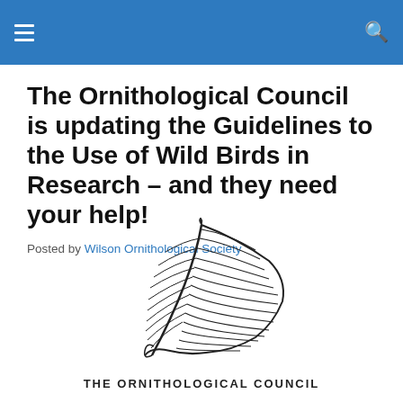Navigation header with menu and search icons
The Ornithological Council is updating the Guidelines to the Use of Wild Birds in Research – and they need your help!
Posted by Wilson Ornithological Society
[Figure (logo): The Ornithological Council logo featuring a detailed feather illustration above the text 'THE ORNITHOLOGICAL COUNCIL']